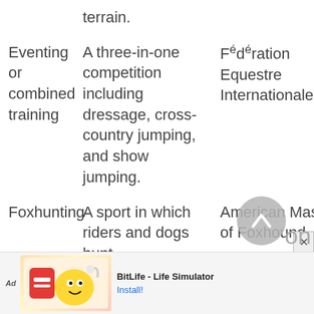| Term | Definition | Organization/Source |
| --- | --- | --- |
|  | terrain. |  |
| Eventing or combined training | A three-in-one competition including dressage, cross-country jumping, and show jumping. | Fédération Equestre Internationale |
| Foxhunting | A sport in which riders and dogs hunt | American Masters of Foxhound |
[Figure (other): Advertisement banner for BitLife - Life Simulator app with cartoon character graphic]